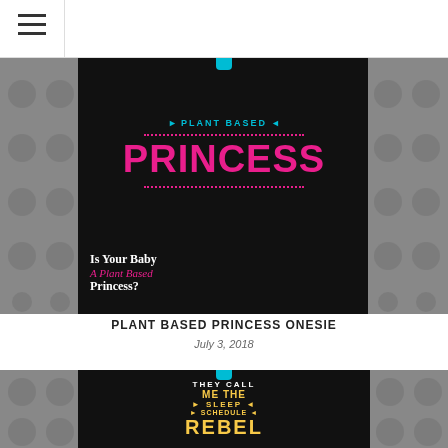[Figure (photo): Black baby onesie with 'Plant Based Princess' text in cyan and magenta on dark background, with dotted gray sidebars. Text overlay reads 'Is Your Baby A Plant Based Princess?']
PLANT BASED PRINCESS ONESIE
July 3, 2018
[Figure (photo): Black baby onesie with 'They Call Me The Sleep Schedule Rebel' text in gold/yellow, with dotted gray sidebars.]